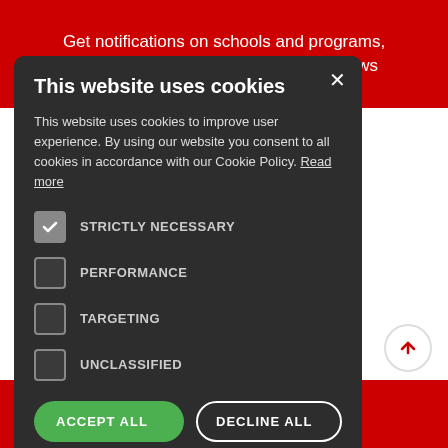Get notifications on schools and programs, exams, and international education news
[Figure (screenshot): Cookie consent modal dialog on dark background with title 'This website uses cookies', body text, checkboxes for STRICTLY NECESSARY (checked), PERFORMANCE, TARGETING, UNCLASSIFIED, and two buttons: ACCEPT ALL (green) and DECLINE ALL (outlined white)]
Submit
INQUIRE NOW